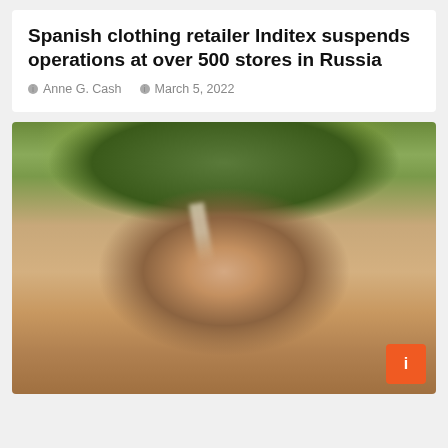Spanish clothing retailer Inditex suspends operations at over 500 stores in Russia
Anne G. Cash   March 5, 2022
[Figure (photo): Portrait photo of a blonde woman with highlights, smiling, photographed outdoors with a blurred green tree background.]